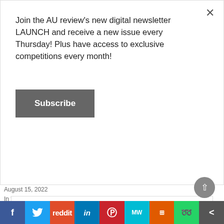Join the AU review's new digital newsletter LAUNCH and receive a new issue every Thursday! Plus have access to exclusive competitions every month!
Subscribe
hour concert in Sydney
August 15, 2022
In "Live Reviews"
Nathan McVay
f  Twitter  Reddit  in  Pinterest  MW  Mix  WhatsApp  Share